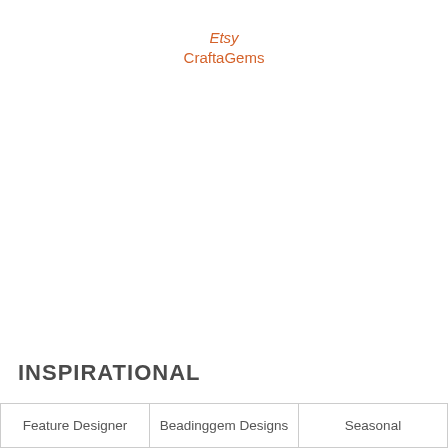Etsy CraftaGems
INSPIRATIONAL
Feature Designer
Beadinggem Designs
Seasonal